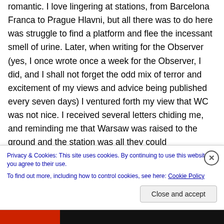romantic. I love lingering at stations, from Barcelona Franca to Prague Hlavni, but all there was to do here was struggle to find a platform and flee the incessant smell of urine. Later, when writing for the Observer (yes, I once wrote once a week for the Observer, I did, and I shall not forget the odd mix of terror and excitement of my views and advice being published every seven days) I ventured forth my view that WC was not nice. I received several letters chiding me, and reminding me that Warsaw was raised to the ground and the station was all they could
Privacy & Cookies: This site uses cookies. By continuing to use this website, you agree to their use.
To find out more, including how to control cookies, see here: Cookie Policy